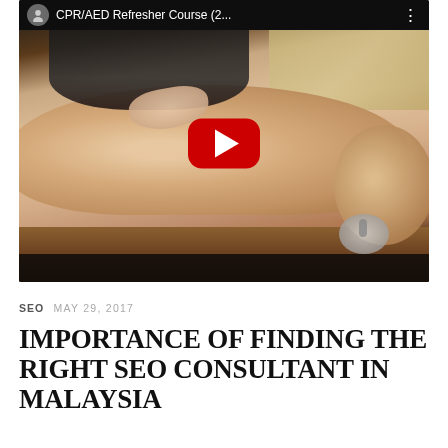[Figure (screenshot): YouTube video thumbnail showing a CPR/AED Refresher Course. A person in black clothing performs chest compressions on a CPR mannequin on a table. A large red YouTube play button is centered on the image. The video title bar reads 'CPR/AED Refresher Course (2...' with a YouTube avatar icon and menu dots.]
SEO  MAY 29, 2017
IMPORTANCE OF FINDING THE RIGHT SEO CONSULTANT IN MALAYSIA